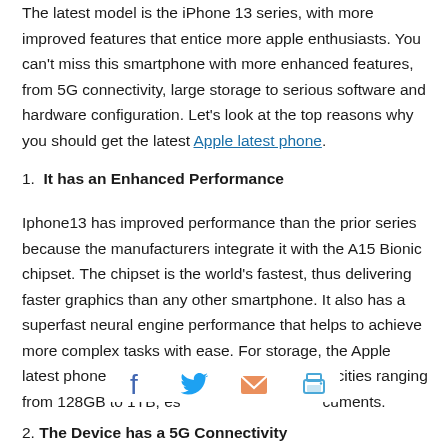The latest model is the iPhone 13 series, with more improved features that entice more apple enthusiasts. You can't miss this smartphone with more enhanced features, from 5G connectivity, large storage to serious software and hardware configuration. Let's look at the top reasons why you should get the latest Apple latest phone.
1. It has an Enhanced Performance
Iphone13 has improved performance than the prior series because the manufacturers integrate it with the A15 Bionic chipset. The chipset is the world's fastest, thus delivering faster graphics than any other smartphone. It also has a superfast neural engine performance that helps to achieve more complex tasks with ease. For storage, the Apple latest phone comes with various storage capacities ranging from 128GB to 1TB, es…cuments.
[Figure (infographic): Social share bar with Facebook, Twitter, email, and print icons]
2. The Device has a 5G Connectivity